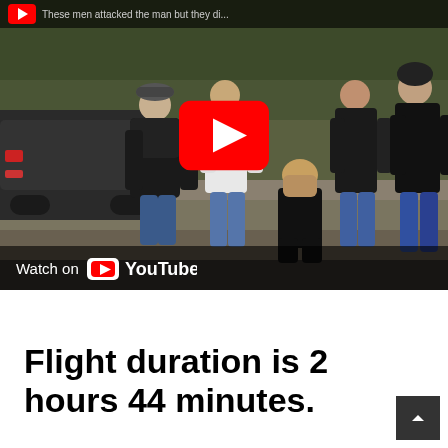[Figure (screenshot): A YouTube video embed showing a scene with several men in dark clothing outdoors near a car and trees. A red YouTube play button is visible in the center. The bottom shows 'Watch on YouTube' with the YouTube logo. The top bar has a partial title text visible.]
Flight duration is 2 hours 44 minutes.